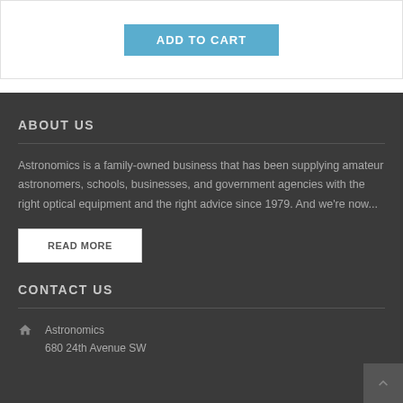[Figure (screenshot): ADD TO CART button in blue on white background at top of page]
ABOUT US
Astronomics is a family-owned business that has been supplying amateur astronomers, schools, businesses, and government agencies with the right optical equipment and the right advice since 1979. And we're now...
READ MORE
CONTACT US
Astronomics
680 24th Avenue SW